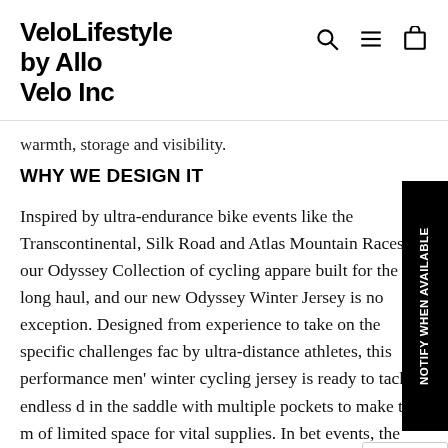VeloLifestyle by Allo Velo Inc
warmth, storage and visibility.
WHY WE DESIGN IT
Inspired by ultra-endurance bike events like the Transcontinental, Silk Road and Atlas Mountain Races, our Odyssey Collection of cycling appare built for the long haul, and our new Odyssey Winter Jersey is no exception. Designed from experience to take on the specific challenges fac by ultra-distance athletes, this performance men' winter cycling jersey is ready to tackle endless d in the saddle with multiple pockets to make the m of limited space for vital supplies. In bet events, the Odyssey jersey makes for the perfect